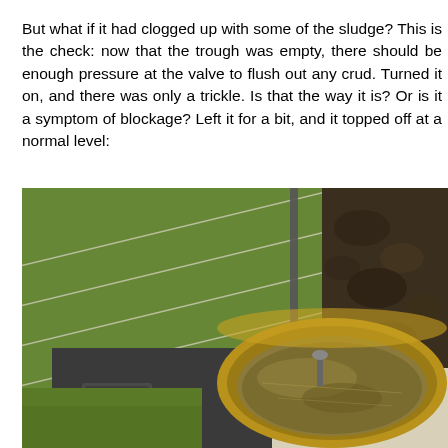But what if it had clogged up with some of the sludge? This is the check: now that the trough was empty, there should be enough pressure at the valve to flush out any crud. Turned it on, and there was only a trickle. Is that the way it is? Or is it a symptom of blockage? Left it for a bit, and it topped off at a normal level:
[Figure (photo): Outdoor photograph showing a water trough or tank with a circular rim made of wood/metal, partially filled with murky brownish water. The trough sits on a dark metal base with a label plate. Behind it is green grass with diagonal wire fencing lines, and to the right is a patch of dark muddy soil. A vertical metal post is visible in the background.]